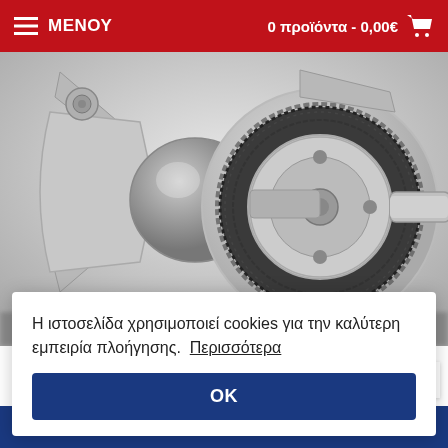ΜΕΝΟΥ   0 προϊόντα - 0,00€
[Figure (photo): Close-up engineering photo of a vehicle wheel hub / brake disc assembly showing metallic bracket arms, a dark textured disc/rotor component, and a cylindrical axle shaft against a light grey background.]
Η ιστοσελίδα χρησιμοποιεί cookies για την καλύτερη εμπειρία πλοήγησης.  Περισσότερα
OK
f